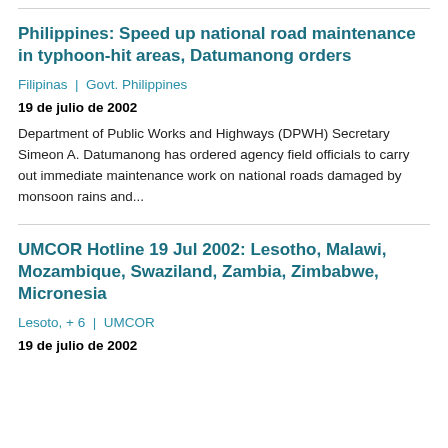Philippines: Speed up national road maintenance in typhoon-hit areas, Datumanong orders
Filipinas  |  Govt. Philippines
19 de julio de 2002
Department of Public Works and Highways (DPWH) Secretary Simeon A. Datumanong has ordered agency field officials to carry out immediate maintenance work on national roads damaged by monsoon rains and...
UMCOR Hotline 19 Jul 2002: Lesotho, Malawi, Mozambique, Swaziland, Zambia, Zimbabwe, Micronesia
Lesoto, + 6  |  UMCOR
19 de julio de 2002